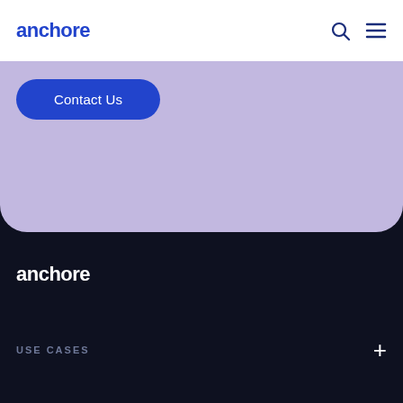[Figure (logo): Anchore logo in blue in top navigation bar]
[Figure (logo): Search icon and hamburger menu icon in top navigation bar]
Contact Us
[Figure (logo): Anchore logo in white on dark navy background in footer]
USE CASES